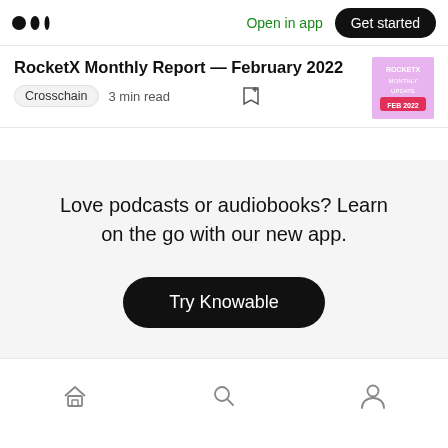Open in app   Get started
RocketX Monthly Report — February 2022
Crosschain   3 min read
Love podcasts or audiobooks? Learn on the go with our new app.
Try Knowable
Home  Search  Profile